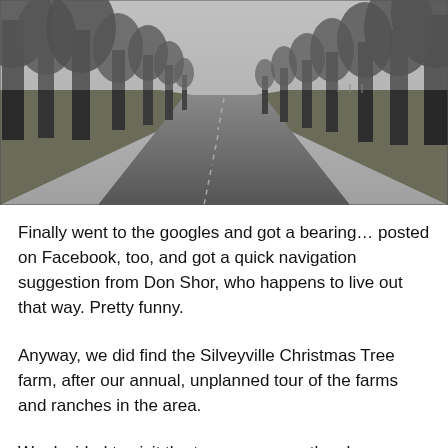[Figure (photo): Black and white photograph of a long straight rural road lined with tall trees on both sides, receding into the distance under an overcast sky.]
Finally went to the googles and got a bearing… posted on Facebook, too, and got a quick navigation suggestion from Don Shor, who happens to live out that way. Pretty funny.
Anyway, we did find the Silveyville Christmas Tree farm, after our annual, unplanned tour of the farms and ranches in the area.
We decided to visit the teeny museum they have on their